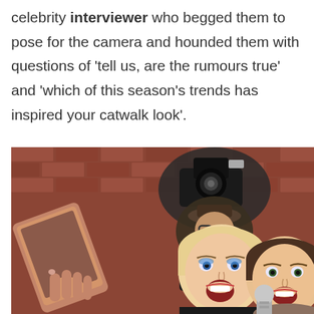celebrity interviewer who begged them to pose for the camera and hounded them with questions of 'tell us, are the rumours true' and 'which of this season's trends has inspired your catwalk look'.
[Figure (photo): Two excited women posing with open mouths and a microphone in the foreground, holding a tablet/phone, with a photographer in the background holding a camera against a brick wall.]